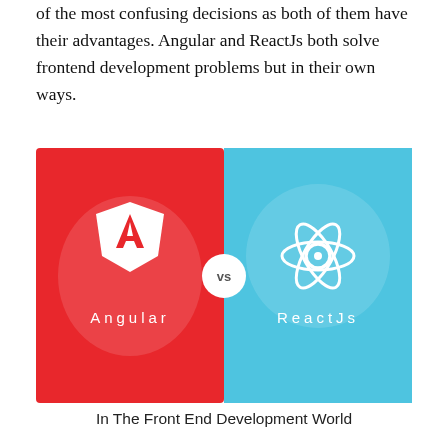of the most confusing decisions as both of them have their advantages. Angular and ReactJs both solve frontend development problems but in their own ways.
[Figure (illustration): Split image comparing Angular (left, red background with Angular shield logo) vs ReactJs (right, cyan/blue background with React atom logo), with 'vs' circle in the center. Angular label in white below the logo on the left, ReactJs label in white below the logo on the right.]
In The Front End Development World